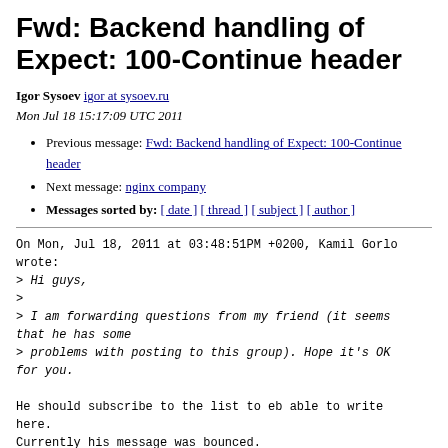Fwd: Backend handling of Expect: 100-Continue header
Igor Sysoev igor at sysoev.ru
Mon Jul 18 15:17:09 UTC 2011
Previous message: Fwd: Backend handling of Expect: 100-Continue header
Next message: nginx company
Messages sorted by: [ date ] [ thread ] [ subject ] [ author ]
On Mon, Jul 18, 2011 at 03:48:51PM +0200, Kamil Gorlo
wrote:
> Hi guys,
>
> I am forwarding questions from my friend (it seems
that he has some
> problems with posting to this group). Hope it's OK
for you.

He should subscribe to the list to eb able to write
here.
Currently his message was bounced.